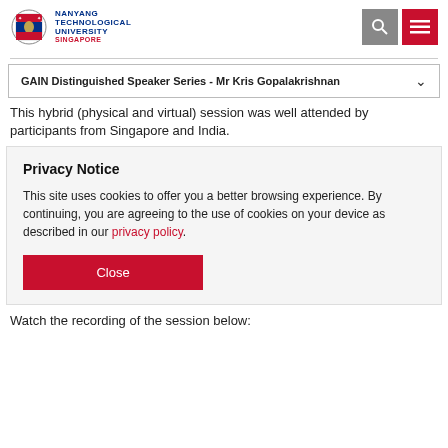[Figure (logo): Nanyang Technological University Singapore logo with crest and text]
GAIN Distinguished Speaker Series - Mr Kris Gopalakrishnan
This hybrid (physical and virtual) session was well attended by participants from Singapore and India.
Privacy Notice
This site uses cookies to offer you a better browsing experience. By continuing, you are agreeing to the use of cookies on your device as described in our privacy policy.
Watch the recording of the session below: